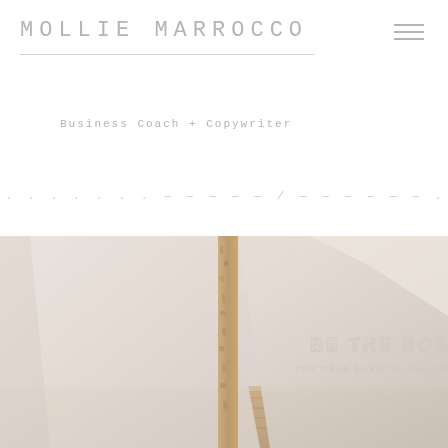MOLLIE MARROCCO
Business Coach + Copywriter
...what brought you to this whole business thing...
[Figure (photo): Flatlay photo of soft pink/beige paper bags and cork material with 'BE THE BOSS' text embossed on the packaging]